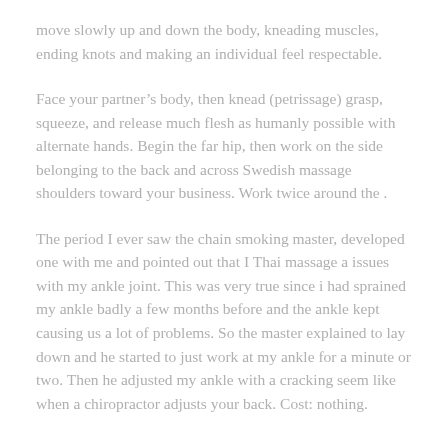move slowly up and down the body, kneading muscles, ending knots and making an individual feel respectable.
Face your partner’s body, then knead (petrissage) grasp, squeeze, and release much flesh as humanly possible with alternate hands. Begin the far hip, then work on the side belonging to the back and across Swedish massage shoulders toward your business. Work twice around the .
The period I ever saw the chain smoking master, developed one with me and pointed out that I Thai massage a issues with my ankle joint. This was very true since i had sprained my ankle badly a few months before and the ankle kept causing us a lot of problems. So the master explained to lay down and he started to just work at my ankle for a minute or two. Then he adjusted my ankle with a cracking seem like when a chiropractor adjusts your back. Cost: nothing.